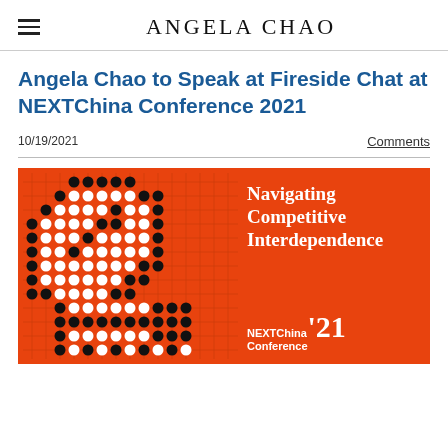ANGELA CHAO
Angela Chao to Speak at Fireside Chat at NEXTChina Conference 2021
10/19/2021
Comments
[Figure (illustration): NEXTChina Conference 2021 promotional banner with orange background, a go-board pattern with black and white stones forming shapes, and white text reading 'Navigating Competitive Interdependence' and 'NEXTChina Conference '21']